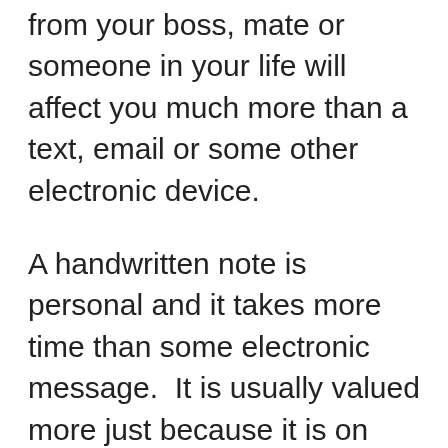from your boss, mate or someone in your life will affect you much more than a text, email or some other electronic device.
A handwritten note is personal and it takes more time than some electronic message.  It is usually valued more just because it is on paper.  Whether it is a thank you not, a letter or a business plan on the back of a napkin, it is valued.  It used to be a rudimentary contract between two (2) people, words were more valued or there were fewer choices.  I am not trying to turn the clock back, but it is a